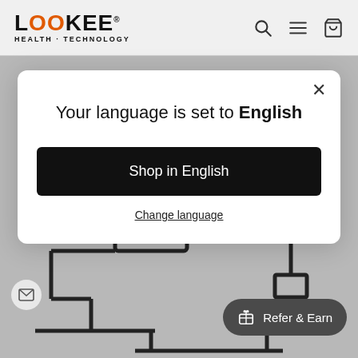[Figure (logo): LOOKEE Health-Technology logo with orange O letters]
[Figure (screenshot): Search, menu hamburger, and shopping cart icons in header]
Your language is set to English
Shop in English
Change language
[Figure (illustration): Device/router schematic line illustration at bottom of page]
Refer & Earn